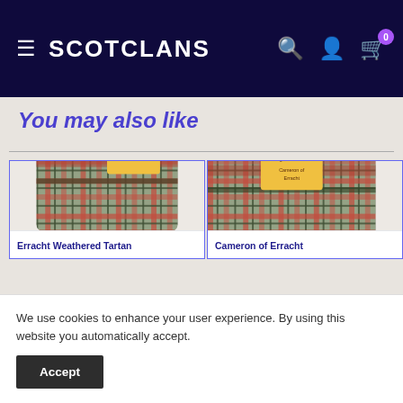SCOTCLANS
You may also like
[Figure (photo): Folded tartan scarf with red, green, and grey plaid pattern (Erracht Weathered Tartan) with a yellow label from Ingles Buchan]
[Figure (photo): Folded tartan fabric with red, green, and grey plaid pattern (Cameron of Erracht) with a yellow Ingles Buchan label, partially cropped]
We use cookies to enhance your user experience. By using this website you automatically accept.
Accept
Erracht Weathered Tartan
Cameron of Erracht